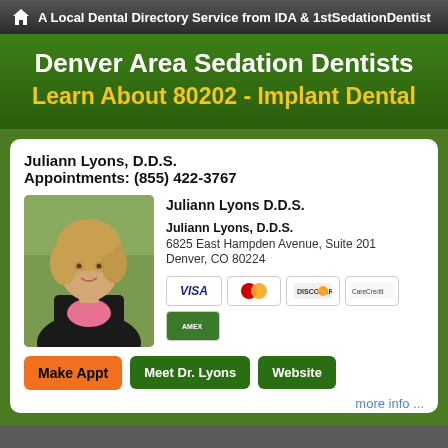A Local Dental Directory Service from IDA & 1stSedationDentist
Denver Area Sedation Dentists
Learn About 80202 - Implant Dental
Juliann Lyons, D.D.S.
Appointments: (855) 422-3767
[Figure (photo): Professional headshot of Dr. Juliann Lyons, a woman with blonde hair wearing a black blazer and pink top, photographed outdoors with green foliage background]
Juliann Lyons D.D.S.
Juliann Lyons, D.D.S.
6825 East Hampden Avenue, Suite 201
Denver, CO 80224
more info ...